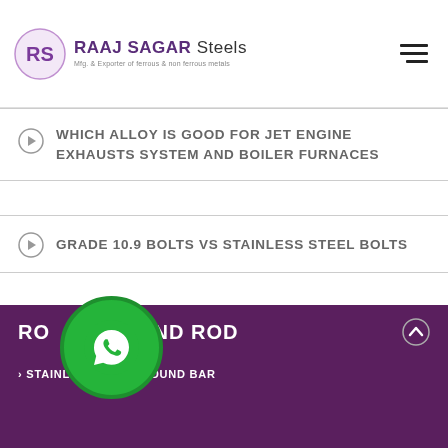RAAJ SAGAR Steels — Mfg. & Exporter of ferrous & non ferrous metals
WHICH ALLOY IS GOOD FOR JET ENGINE EXHAUSTS SYSTEM AND BOILER FURNACES
GRADE 10.9 BOLTS VS STAINLESS STEEL BOLTS
ROUND BARS AND ROD
STAINLESS STEEL ROUND BAR